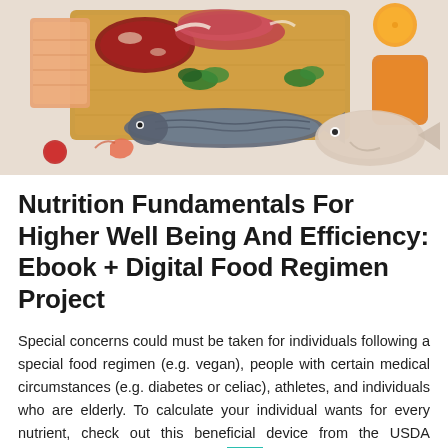[Figure (photo): Overhead flat-lay photo of various raw meats on a cutting board, fish (mackerel and white fish), vegetables, and citrus fruits arranged on a light surface]
Nutrition Fundamentals For Higher Well Being And Efficiency: Ebook + Digital Food Regimen Project
Special concerns could must be taken for individuals following a special food regimen (e.g. vegan), people with certain medical circumstances (e.g. diabetes or celiac), athletes, and individuals who are elderly. To calculate your individual wants for every nutrient, check out this beneficial device from the USDA National Agricultural Library. While your cat could seem wholesome proper now, the benefits of